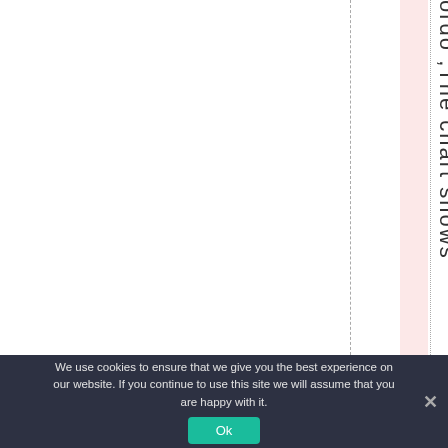ordo ,The chart shows
We use cookies to ensure that we give you the best experience on our website. If you continue to use this site we will assume that you are happy with it.